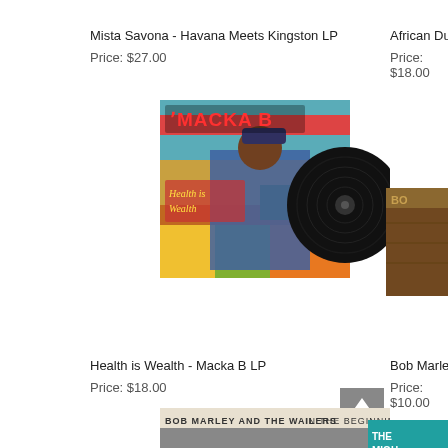Mista Savona - Havana Meets Kingston LP
Price: $27.00
African Dub Chapte
Price: $18.00
[Figure (photo): Macka B - Health is Wealth LP album cover showing artist at a fruit market with a vinyl record partially visible, and text 'MACKA B' and 'Health is Wealth']
[Figure (photo): Partial album cover image on right side]
Health is Wealth - Macka B LP
Price: $18.00
Bob Marley - Chant
Price: $10.00
[Figure (photo): Upload/scroll up icon - grey square with white upward arrow]
[Figure (photo): Bob Marley and The Wailers - In The Beginning partial album cover at bottom]
[Figure (photo): The Migh... partial album cover bottom right]